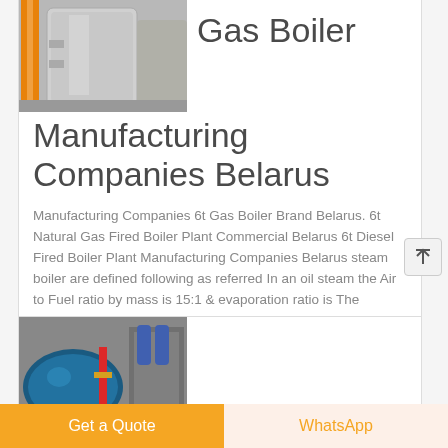[Figure (photo): Industrial gas boiler equipment in a facility, showing metallic tanks and orange pipes]
Gas Boiler Manufacturing Companies Belarus
Manufacturing Companies 6t Gas Boiler Brand Belarus. 6t Natural Gas Fired Boiler Plant Commercial Belarus 6t Diesel Fired Boiler Plant Manufacturing Companies Belarus steam boiler are defined following as referred In an oil steam the Air to Fuel ratio by mass is 15:1 & evaporation ratio is The difference between. Read More
[Figure (photo): Industrial boiler equipment with blue tanks and red pipes in a manufacturing facility]
Get a Quote
WhatsApp